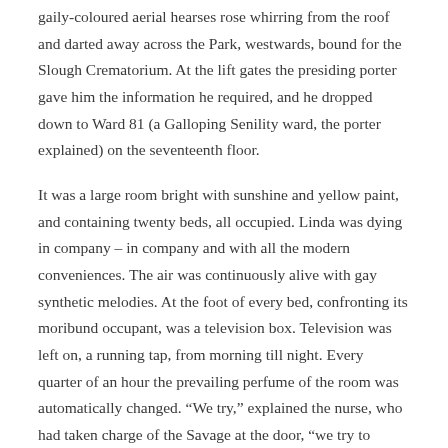gaily-coloured aerial hearses rose whirring from the roof and darted away across the Park, westwards, bound for the Slough Crematorium. At the lift gates the presiding porter gave him the information he required, and he dropped down to Ward 81 (a Galloping Senility ward, the porter explained) on the seventeenth floor.
It was a large room bright with sunshine and yellow paint, and containing twenty beds, all occupied. Linda was dying in company – in company and with all the modern conveniences. The air was continuously alive with gay synthetic melodies. At the foot of every bed, confronting its moribund occupant, was a television box. Television was left on, a running tap, from morning till night. Every quarter of an hour the prevailing perfume of the room was automatically changed. “We try,” explained the nurse, who had taken charge of the Savage at the door, “we try to create a thoroughly pleasant atmosphere here – something between a first-class hotel and a feely-palace, if you take my meaning.”
“Where is she?” asked the Savage, ignoring these polite explanations